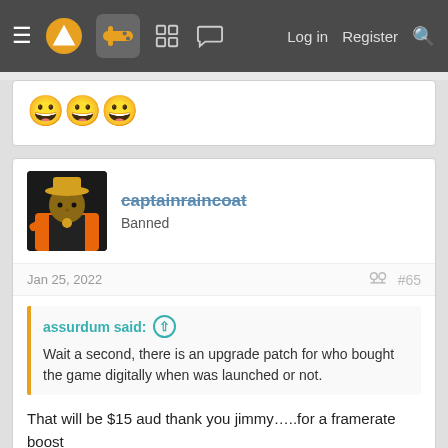≡  [logo]  [controller icon]  [grid icon]  [chat icon]  Log in  Register  [search]
[Figure (screenshot): Three smiley face emojis (😀😀😀) in a white card]
captainraincoat
Banned
Jan 25, 2022  #65
assurdum said:
Wait a second, there is an upgrade patch for who bought the game digitally when was launched or not.
That will be $15 aud thank you jimmy…..for a framerate boost
Oh and don't think you can get it if you were silly enough to add in from the ps collection or when it was a ps+ game as we will block you from doing so